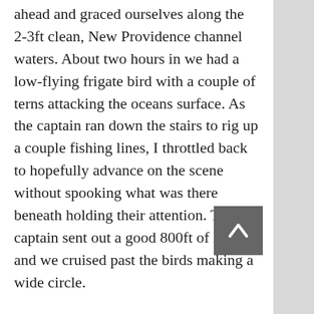ahead and graced ourselves along the 2-3ft clean, New Providence channel waters. About two hours in we had a low-flying frigate bird with a couple of terns attacking the oceans surface. As the captain ran down the stairs to rig up a couple fishing lines, I throttled back to hopefully advance on the scene without spooking what was there beneath holding their attention. The captain sent out a good 800ft of line and we cruised past the birds making a wide circle.
Nothing on the first pass, so we lined ourselves up to make another go at it. The frigate had lifted itself higher, but the terns kept themselves close